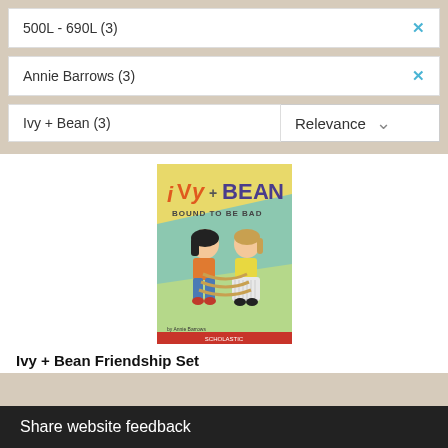500L - 690L (3)
Annie Barrows (3)
Ivy + Bean (3)
Relevance
[Figure (illustration): Book cover of Ivy + Bean: Bound to Be Bad, showing two cartoon girls tied together with rope on a yellow and green background, published by Scholastic]
Ivy + Bean Friendship Set
Share website feedback